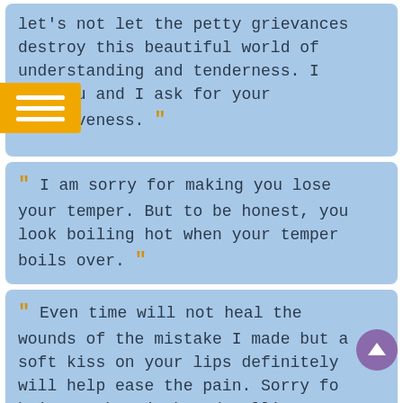let's not let the petty grievances destroy this beautiful world of understanding and tenderness. I love you and I ask for your forgiveness. "
" I am sorry for making you lose your temper. But to be honest, you look boiling hot when your temper boils over. "
" Even time will not heal the wounds of the mistake I made but a soft kiss on your lips definitely will help ease the pain. Sorry for being such a jerk and calling you silly names. "